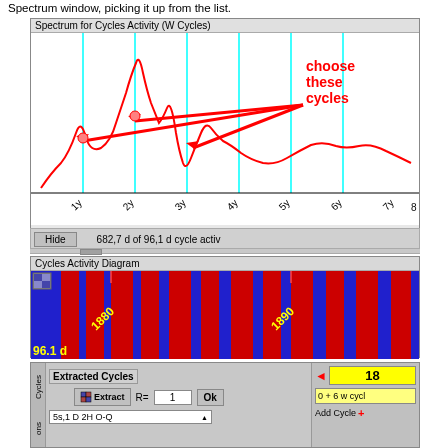Spectrum window, picking it up from the list.
[Figure (screenshot): Spectrum for Cycles Activity (W Cycles) window showing a red waveform spectrum chart with cyan vertical lines marking cycle positions at 1y through 7y+ on x-axis. Red arrows and annotation 'choose these cycles' point to cycle peaks.]
[Figure (screenshot): Cycles Activity Diagram showing a horizontal band diagram with blue and red vertical stripes indicating cycle phases. Yellow text '1880' and '1890' label time periods. Yellow text '96.1 d' shown at bottom left.]
[Figure (screenshot): Extracted Cycles panel showing controls: Extract button with R=1 input and Ok button. Dropdown showing '5s,1 D 2H O-Q'. Right side shows number 18, cycle info '0 + 6 w cycl' and Add Cycle button. Left side labels read 'Cycles' and 'ons'.]